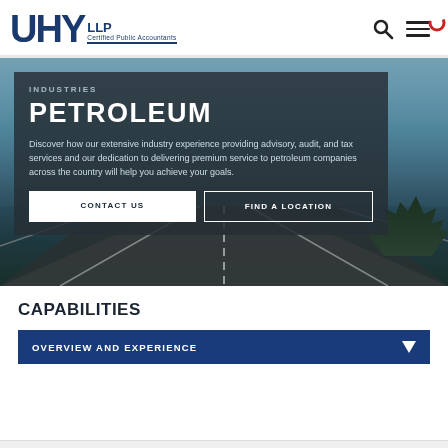UHY LLP Certified Public Accountants
[Figure (screenshot): Hero banner image of a highway road under dramatic cloudy sky with dark overlay panel containing INDUSTRIES / PETROLEUM heading, descriptive text, and two buttons: CONTACT US and FIND A LOCATION]
INDUSTRIES
PETROLEUM
Discover how our extensive industry experience providing advisory, audit, and tax services and our dedication to delivering premium service to petroleum companies across the country will help you achieve your goals.
CAPABILITIES
OVERVIEW AND EXPERIENCE